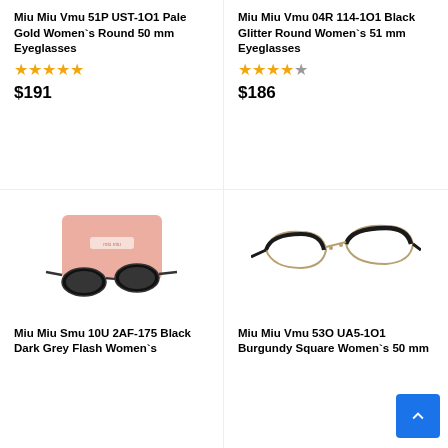Miu Miu Vmu 51P UST-1O1 Pale Gold Women`s Round 50 mm Eyeglasses
★★★★★
$191
Miu Miu Vmu 04R 114-1O1 Black Glitter Round Women`s 51 mm Eyeglasses
★★★★☆
$186
[Figure (photo): Black cat-eye sunglasses with pink Miu Miu case]
Miu Miu Smu 10U 2AF-175 Black Dark Grey Flash Women`s
[Figure (photo): Gold and dark cat-eye eyeglasses frame]
Miu Miu Vmu 53O UA5-1O1 Burgundy Square Women`s 50 mm